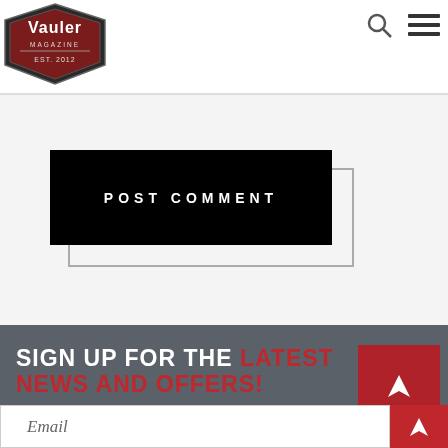Vauler Magazine — EST. 2012
POST COMMENT
SIGN UP FOR THE LATEST NEWS AND OFFERS!
Email